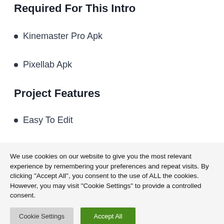Required For This Intro
Kinemaster Pro Apk
Pixellab Apk
Project Features
Easy To Edit
We use cookies on our website to give you the most relevant experience by remembering your preferences and repeat visits. By clicking "Accept All", you consent to the use of ALL the cookies. However, you may visit "Cookie Settings" to provide a controlled consent.